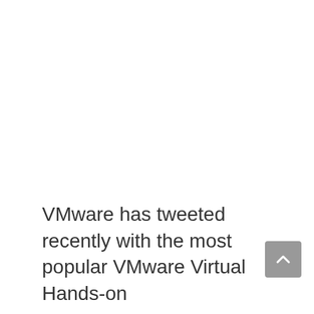VMware has tweeted recently with the most popular VMware Virtual Hands-on